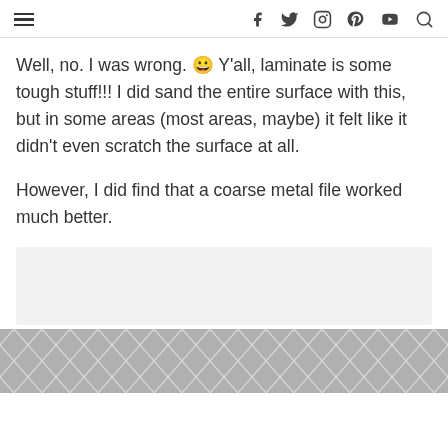≡  f  🐦  📷  𝐏  ▶  🔍
Well, no. I was wrong. 😀 Y'all, laminate is some tough stuff!!! I did sand the entire surface with this, but in some areas (most areas, maybe) it felt like it didn't even scratch the surface at all.
However, I did find that a coarse metal file worked much better.
[Figure (other): Gray advertisement placeholder box]
[Figure (illustration): Geometric hexagon/chevron pattern tile image in gray and white at the bottom of the page]